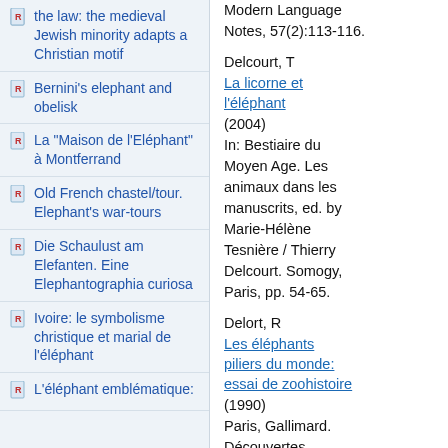the law: the medieval Jewish minority adapts a Christian motif
Bernini's elephant and obelisk
La "Maison de l'Eléphant" à Montferrand
Old French chastel/tour. Elephant's war-tours
Die Schaulust am Elefanten. Eine Elephantographia curiosa
Ivoire: le symbolisme christique et marial de l'éléphant
L'éléphant emblématique:
Modern Language Notes, 57(2):113-116.
Delcourt, T
La licorne et l'éléphant
(2004)
In: Bestiaire du Moyen Age. Les animaux dans les manuscrits, ed. by Marie-Hélène Tesnière / Thierry Delcourt. Somogy, Paris, pp. 54-65.
Delort, R
Les éléphants piliers du monde: essai de zoohistoire
(1990)
Paris, Gallimard. Découvertes Gallimard.
Delort, R
L'histoire des